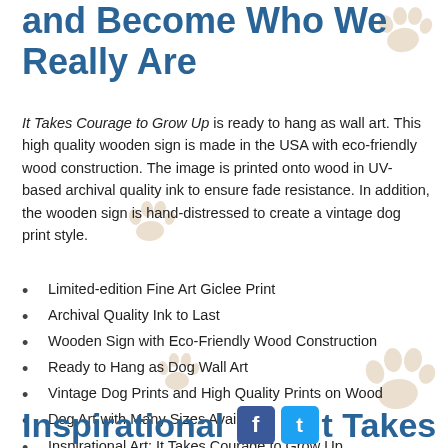and Become Who We Really Are
It Takes Courage to Grow Up is ready to hang as wall art. This high quality wooden sign is made in the USA with eco-friendly wood construction. The image is printed onto wood in UV-based archival quality ink to ensure fade resistance. In addition, the wooden sign is hand-distressed to create a vintage dog print style.
Limited-edition Fine Art Giclee Print
Archival Quality Ink to Last
Wooden Sign with Eco-Friendly Wood Construction
Ready to Hang as Dog Wall Art
Vintage Dog Prints and High Quality Prints on Wood
Dog Art with Many Sizes Available
Inspirational Art: It Takes Courage to Grow Up
Made in the USA
Inspirational [f][t] t Takes